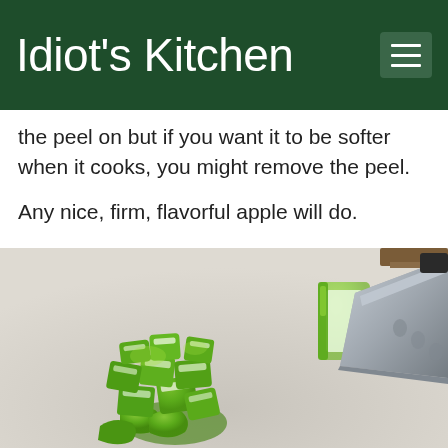Idiot's Kitchen
the peel on but if you want it to be softer when it cooks, you might remove the peel.
Any nice, firm, flavorful apple will do.
[Figure (photo): Diced green apple pieces on a white cutting board next to a large chef's knife, with a rectangular apple slice near the knife blade.]